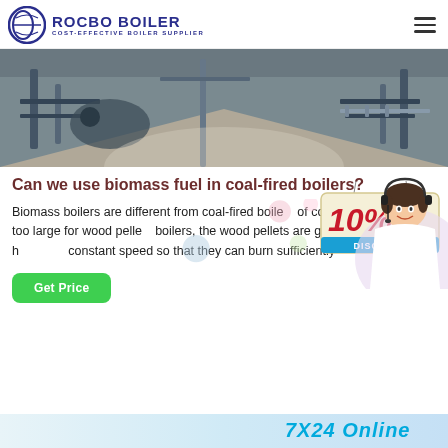[Figure (logo): ROCBO BOILER logo with circular blue emblem and tagline COST-EFFECTIVE BOILER SUPPLIER]
[Figure (photo): Industrial boiler room interior showing pipes and equipment]
Can we use biomass fuel in coal-fired boilers?
Biomass boilers are different from coal-fired boilers. of coal-fired boilers are too large for wood pellets boilers, the wood pellets are gasified and fed by a b constant speed so that they can burn sufficiently
[Figure (infographic): 10% DISCOUNT promotional badge with hanging sign design]
[Figure (photo): Customer service agent woman with headset smiling]
[Figure (infographic): 7X24 Online banner at the bottom of the page]